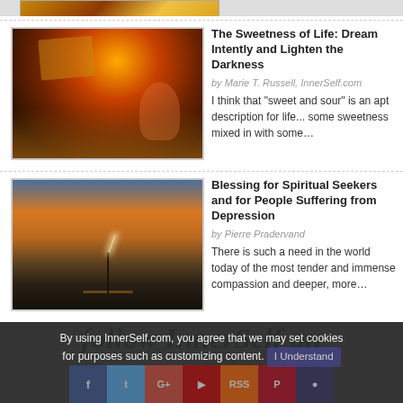[Figure (photo): Partial top strip showing a fantasy/warm-toned image cropped at the top of the page]
[Figure (photo): Fantasy image of an open book with fire/flames and a girl in a pink dress on a beach at sunset]
The Sweetness of Life: Dream Intently and Lighten the Darkness
by Marie T. Russell, InnerSelf.com
I think that "sweet and sour" is an apt description for life... some sweetness mixed in with some…
[Figure (photo): Silhouette of a man standing on a pier holding a flashlight/torch, sunset over water with dramatic clouds]
Blessing for Spiritual Seekers and for People Suffering from Depression
by Pierre Pradervand
There is such a need in the world today of the most tender and immense compassion and deeper, more…
follow InnerSelf on
By using InnerSelf.com, you agree that we may set cookies for purposes such as customizing content. I Understand